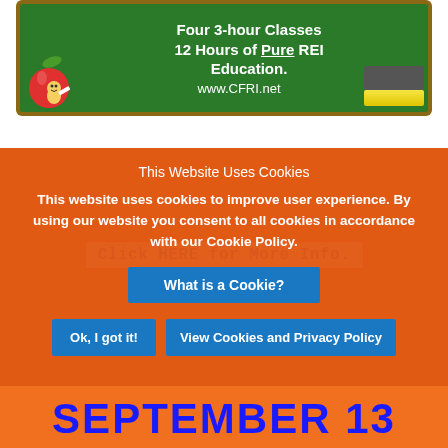[Figure (illustration): Chalkboard illustration with apple character, text reading 'Four 3-hour Classes 12 Hours of Pure REI Education.' and www.CFRI.net]
Click HERE for More Info.
This Website Uses Cookies
This website uses cookies to improve user experience. By using our website you consent to all cookies in accordance with our Cookie Policy.
What is a Cookie?
Ok, I got it!
View Cookies and Privacy Policy
SEPTEMBER 13